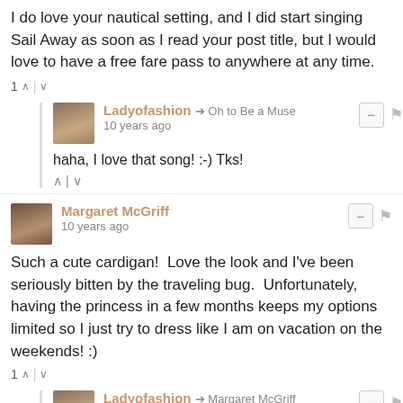I do love your nautical setting, and I did start singing Sail Away as soon as I read your post title, but I would love to have a free fare pass to anywhere at any time.
1 ▲ | ▼
Ladyofashion → Oh to Be a Muse
10 years ago
haha, I love that song! :-) Tks!
▲ | ▼
Margaret McGriff
10 years ago
Such a cute cardigan!  Love the look and I've been seriously bitten by the traveling bug.  Unfortunately, having the princess in a few months keeps my options limited so I just try to dress like I am on vacation on the weekends! :)
1 ▲ | ▼
Ladyofashion → Margaret McGriff
10 years ago
Yes, that absolutely works.!Sometimes dressing like that one the weekends helps bring joy to the day. :) So excited